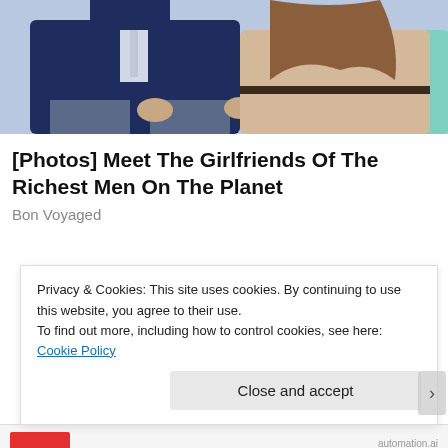[Figure (photo): Photo of a couple sitting together — man in dark navy suit on the left, woman in beige lace dress with a pink flower accessory on the right, greenish background]
[Photos] Meet The Girlfriends Of The Richest Men On The Planet
Bon Voyaged
Privacy & Cookies: This site uses cookies. By continuing to use this website, you agree to their use.
To find out more, including how to control cookies, see here: Cookie Policy
Close and accept